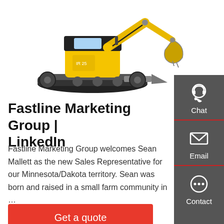[Figure (photo): Yellow mini excavator (Yanmar ViO25 or similar) on a white background, with tracks, arm extended and bucket visible]
Fastline Marketing Group | LinkedIn
Fastline Marketing Group welcomes Sean Mallett as the new Sales Representative for our Minnesota/Dakota territory. Sean was born and raised in a small farm community in …
Get a quote